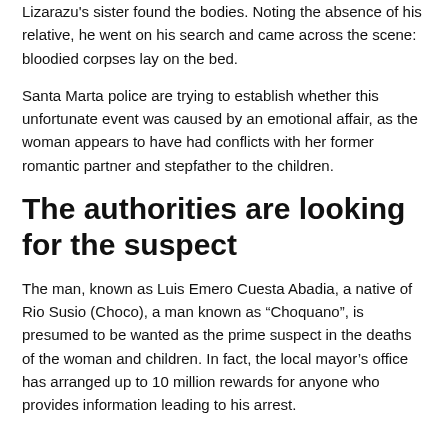Lizarazu's sister found the bodies. Noting the absence of his relative, he went on his search and came across the scene: bloodied corpses lay on the bed.
Santa Marta police are trying to establish whether this unfortunate event was caused by an emotional affair, as the woman appears to have had conflicts with her former romantic partner and stepfather to the children.
The authorities are looking for the suspect
The man, known as Luis Emero Cuesta Abadia, a native of Rio Susio (Choco), a man known as “Choquano”, is presumed to be wanted as the prime suspect in the deaths of the woman and children. In fact, the local mayor’s office has arranged up to 10 million rewards for anyone who provides information leading to his arrest.